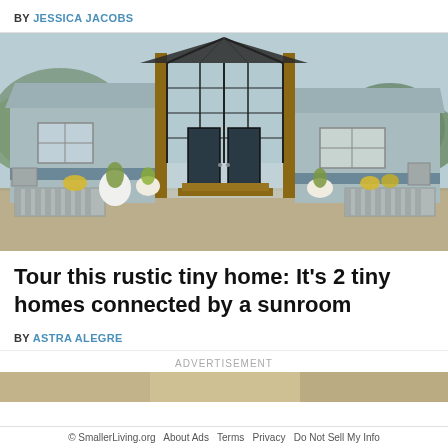BY JESSICA JACOBS
[Figure (photo): Exterior of a modern rustic tiny home with blue-gray metal siding, tall glass sunroom/greenhouse entrance in the center with wooden accents and double doors, flanked by two smaller wings, surrounded by gravel landscaping with corrugated metal raised garden beds and potted plants, trees in background]
Tour this rustic tiny home: It's 2 tiny homes connected by a sunroom
BY ASTRA ALEGRE
ADVERTISEMENT
[Figure (photo): Advertisement image strip showing a partial interior or decorative image]
© SmallerLiving.org  About Ads  Terms  Privacy  Do Not Sell My Info